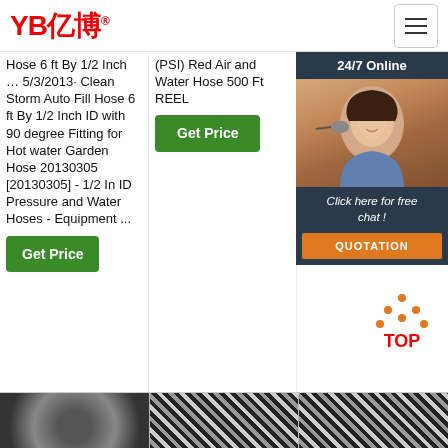YB亿博® [logo]
Hose 6 ft By 1/2 Inch … 5/3/2013· Clean Storm Auto Fill Hose 6 ft By 1/2 Inch ID with 90 degree Fitting for Hot water Garden Hose 20130305 [20130305] - 1/2 In ID Pressure and Water Hoses - Equipment ...
(PSI) Red Air and Water Hose 500 Ft REEL
with 3/8' Industrial Quick Plug of ...
[Figure (screenshot): 24/7 Online chat widget with customer service representative photo, 'Click here for free chat!' text, and QUOTATION button]
[Figure (illustration): TOP button with orange dot-triangle icon above red TOP text]
[Figure (photo): Three product images at bottom: garden hose, black braided hose, black braided hose]
Get Price (button, left column)
Get Price (button, middle column)
G... (button, right column, partially hidden)